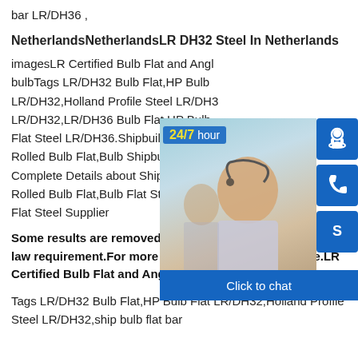bar LR/DH36 ,
NetherlandsNetherlandsLR DH32 Steel In Netherlands
imagesLR Certified Bulb Flat and Angl bulbTags LR/DH32 Bulb Flat,HP Bulb LR/DH32,Holland Profile Steel LR/DH3 LR/DH32,LR/DH36 Bulb Flat,HP Bulb Flat Steel LR/DH36.Shipbuilding Bulb Rolled Bulb Flat,Bulb Shipbuilding Bul Complete Details about Shipbuilding B Rolled Bulb Flat,Bulb Flat Steel Bar,Bu Flat Steel Supplier
[Figure (photo): Customer service representative with headset, overlaid with blue icon buttons for headset, phone, Skype, a 24/7 hour label, and a 'Click to chat' bar at the bottom.]
Some results are removed in response to a notice of local law requirement.For more information,please see here.LR Certified Bulb Flat and Angle Bar - steel-flat-bulb
Tags LR/DH32 Bulb Flat,HP Bulb Flat LR/DH32,Holland Profile Steel LR/DH32,ship bulb flat bar